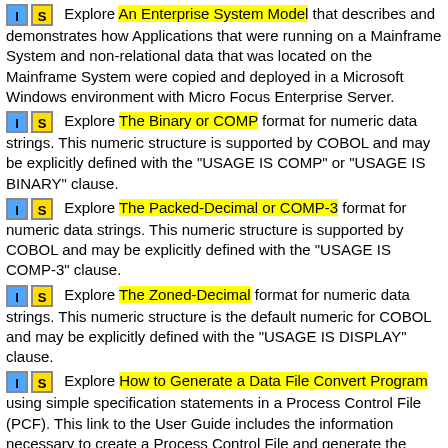Explore An Enterprise System Model that describes and demonstrates how Applications that were running on a Mainframe System and non-relational data that was located on the Mainframe System were copied and deployed in a Microsoft Windows environment with Micro Focus Enterprise Server.
Explore The Binary or COMP format for numeric data strings. This numeric structure is supported by COBOL and may be explicitly defined with the "USAGE IS COMP" or "USAGE IS BINARY" clause.
Explore The Packed-Decimal or COMP-3 format for numeric data strings. This numeric structure is supported by COBOL and may be explicitly defined with the "USAGE IS COMP-3" clause.
Explore The Zoned-Decimal format for numeric data strings. This numeric structure is the default numeric for COBOL and may be explicitly defined with the "USAGE IS DISPLAY" clause.
Explore How to Generate a Data File Convert Program using simple specification statements in a Process Control File (PCF). This link to the User Guide includes the information necessary to create a Process Control File and generate the COBOL programs that will do the actual data file conversion. The User Guide contains a list of the PCF statements that are used for the data file convert process.
Explore How to Generate a Data File Compare, Validate or Hex-Dump Program using simple specification statements in a Process Control File (PCF). This link to the User Guide includes the information necessary to create a Process Control File and generate the COBOL programs that will do a data file compare, accumulate summary totals